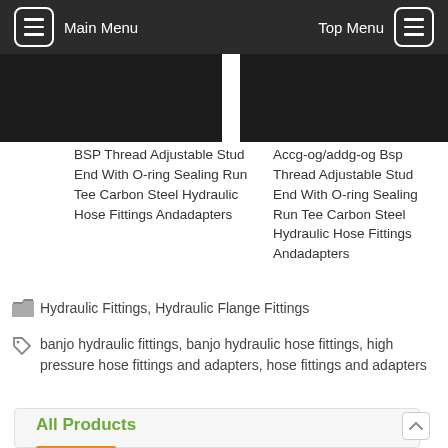Main Menu   Top Menu
[Figure (photo): Two dark product images side by side — hydraulic fittings]
BSP Thread Adjustable Stud End With O-ring Sealing Run Tee Carbon Steel Hydraulic Hose Fittings Andadapters
Accg-og/addg-og Bsp Thread Adjustable Stud End With O-ring Sealing Run Tee Carbon Steel Hydraulic Hose Fittings Andadapters
Hydraulic Fittings, Hydraulic Flange Fittings
banjo hydraulic fittings, banjo hydraulic hose fittings, high pressure hose fittings and adapters, hose fittings and adapters
All Products